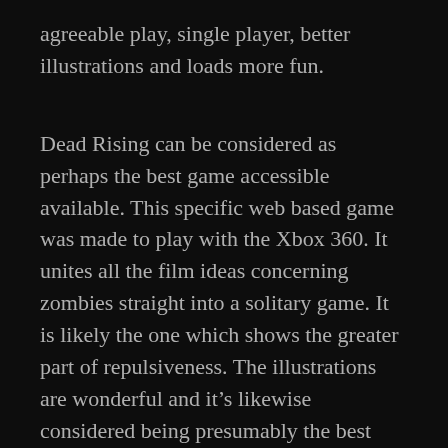agreeable play, single player, better illustrations and loads more fun.
Dead Rising can be considered as perhaps the best game accessible available. This specific web based game was made to play with the Xbox 360. It unites all the film ideas concerning zombies straight into a solitary game. It is likely the one which shows the greater part of repulsiveness. The illustrations are wonderful and it’s likewise considered being presumably the best game ever.